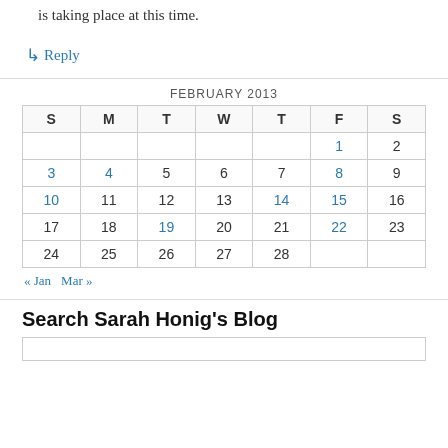is taking place at this time.
↳ Reply
| S | M | T | W | T | F | S |
| --- | --- | --- | --- | --- | --- | --- |
|  |  |  |  |  | 1 | 2 |
| 3 | 4 | 5 | 6 | 7 | 8 | 9 |
| 10 | 11 | 12 | 13 | 14 | 15 | 16 |
| 17 | 18 | 19 | 20 | 21 | 22 | 23 |
| 24 | 25 | 26 | 27 | 28 |  |  |
« Jan    Mar »
Search Sarah Honig's Blog